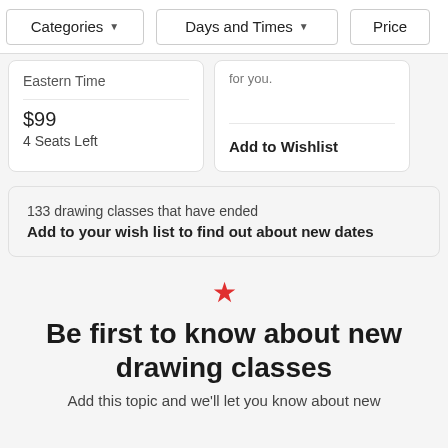Categories ▼
Days and Times ▼
Price
Eastern Time
for you.
$99
4 Seats Left
Add to Wishlist
133 drawing classes that have ended
Add to your wish list to find out about new dates
[Figure (illustration): Red star icon]
Be first to know about new drawing classes
Add this topic and we'll let you know about new